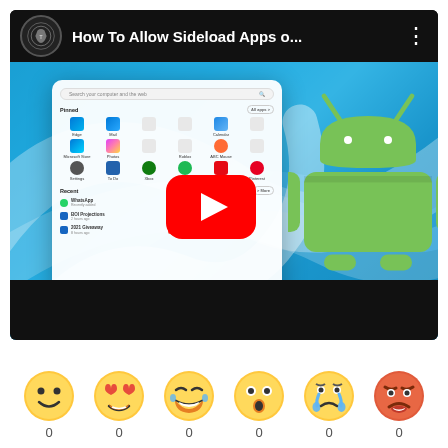[Figure (screenshot): YouTube video thumbnail/player showing 'How To Allow Sideload Apps o...' with Windows 11 Start Menu visible and Android logo, with a YouTube play button overlay. Below are 6 emoji reaction buttons (smiley, heart-eyes, laughing, surprised, crying, angry) each showing a count of 0.]